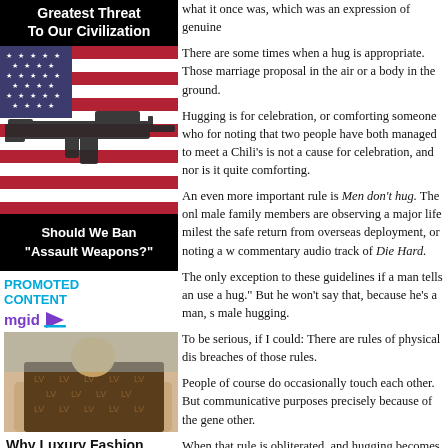Greatest Threat To Our Civilization
[Figure (photo): Assault rifle on American flag background]
Should We Ban "Assault Weapons?"
PROMOTED CONTENT
[Figure (logo): mgid logo with play button icon]
[Figure (photo): Person with luxury Louis Vuitton blanket in car]
Why Luxury Fashion Brands Are So Expensive
what it once was, which was an expression of genuine
There are some times when a hug is appropriate. Those marriage proposal in the air or a body in the ground.
Hugging is for celebration, or comforting someone who for noting that two people have both managed to meet a Chili's is not a cause for celebration, and nor is it quite comforting.
An even more important rule is Men don't hug. The only male family members are observing a major life milestone the safe return from overseas deployment, or noting a w commentary audio track of Die Hard.
The only exception to these guidelines if a man tells an use a hug." But he won't say that, because he's a man, so male hugging.
To be serious, if I could: There are rules of physical dis breaches of those rules.
People of course do occasionally touch each other. But communicative purposes precisely because of the gene other.
When that rule is obliterated, and hugging becomes som Hello With Your Arms," then the special meaning of a m touch of the shoulder, is likewise obliterated.
The word "hello" has no particular meaning and no imp